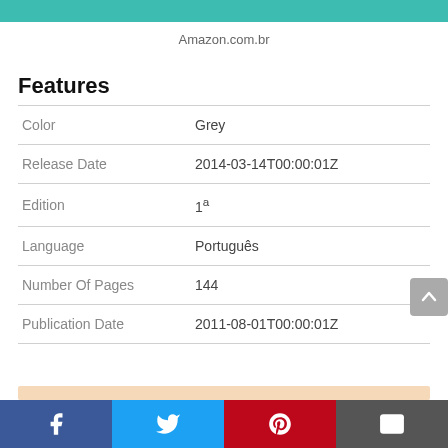Amazon.com.br
Features
|  |  |
| --- | --- |
| Color | Grey |
| Release Date | 2014-03-14T00:00:01Z |
| Edition | 1ª |
| Language | Português |
| Number Of Pages | 144 |
| Publication Date | 2011-08-01T00:00:01Z |
Facebook | Twitter | Pinterest | Email